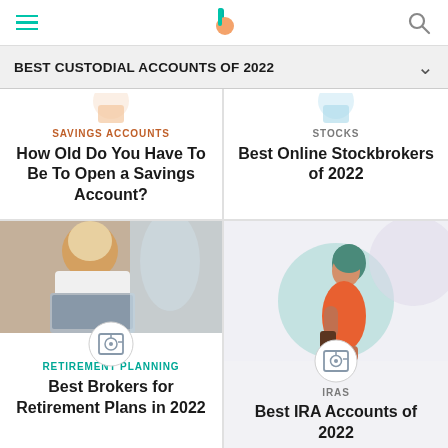BEST CUSTODIAL ACCOUNTS OF 2022
SAVINGS ACCOUNTS
How Old Do You Have To Be To Open a Savings Account?
STOCKS
Best Online Stockbrokers of 2022
[Figure (photo): Woman in hijab working on a laptop]
RETIREMENT PLANNING
Best Brokers for Retirement Plans in 2022
[Figure (illustration): Illustration of a woman in orange holding a coffee cup]
IRAS
Best IRA Accounts of 2022